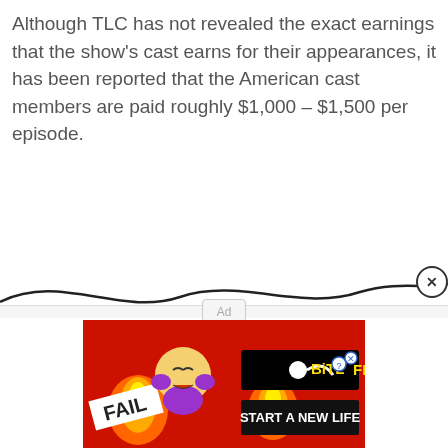Although TLC has not revealed the exact earnings that the show's cast earns for their appearances, it has been reported that the American cast members are paid roughly $1,000 – $1,500 per episode.
[Figure (other): Advertisement placeholder area with 'Ad' label in center, light gray background]
[Figure (other): Bottom banner advertisement for BitLife game showing fire, cartoon character, and 'START A NEW LIFE' text on red background]